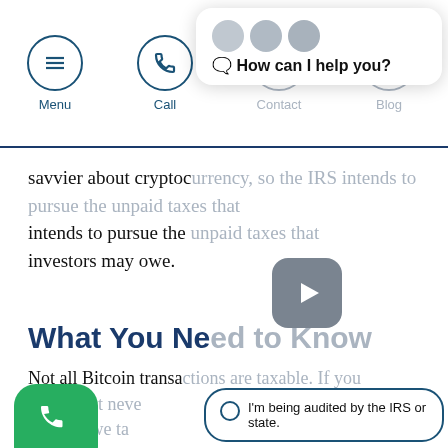Menu | Call | Contact | Blog
[Figure (screenshot): Chat widget overlay showing 'How can I help you?' prompt with radio options: 'I'm being audited by the IRS or state.', 'I owe back taxes.', 'I or someone I know may']
savvier about cryptocurrency, so the IRS intends to pursue the unpaid taxes that investors may owe.
What You Need to Know
Not all Bitcoin transactions are taxable. If you used it but never typically owe ta cryptocurrency as property and buying property is not a taxable also give cryptocurrency as amount is less than $15,000) or buy it with a